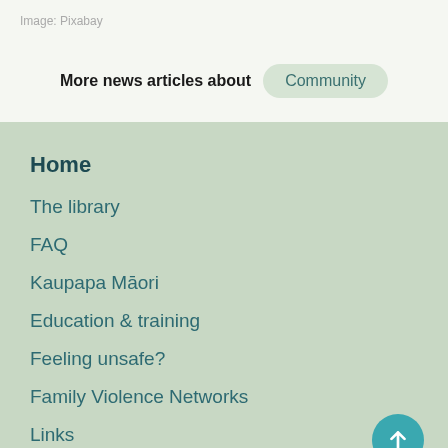Image: Pixabay
More news articles about Community
Home
The library
FAQ
Kaupapa Māori
Education & training
Feeling unsafe?
Family Violence Networks
Links